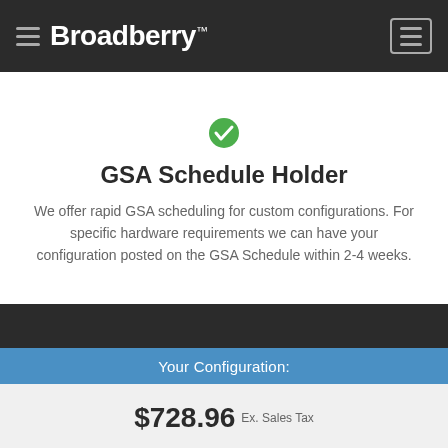Broadberry
GSA Schedule Holder
We offer rapid GSA scheduling for custom configurations. For specific hardware requirements we can have your configuration posted on the GSA Schedule within 2-4 weeks.
Your Configuration:
$728.96 Ex. Sales Tax
Create PDF  Add to Basket